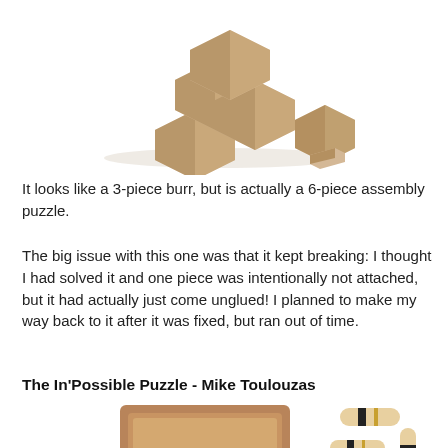[Figure (photo): Wooden puzzle pieces disassembled — looks like a 3-piece burr but is a 6-piece assembly puzzle, showing several interlocking wooden cube-shaped blocks and a smaller piece on a white background.]
It looks like a 3-piece burr, but is actually a 6-piece assembly puzzle.
The big issue with this one was that it kept breaking: I thought I had solved it and one piece was intentionally not attached, but it had actually just come unglued! I planned to make my way back to it after it was fixed, but ran out of time.
The In'Possible Puzzle - Mike Toulouzas
[Figure (photo): Wooden puzzle: a rectangular wooden tray/box with a slot, alongside multiple cylindrical and flat wooden pieces with black and gold stripe inlays, scattered on a white background.]